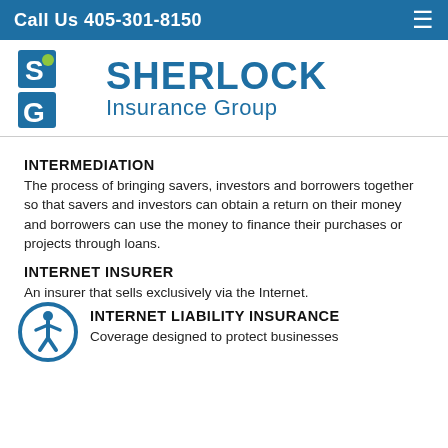Call Us 405-301-8150
[Figure (logo): Sherlock Insurance Group logo with stylized S and G letters in blue with a green dot, and text SHERLOCK Insurance Group in blue]
INTERMEDIATION
The process of bringing savers, investors and borrowers together so that savers and investors can obtain a return on their money and borrowers can use the money to finance their purchases or projects through loans.
INTERNET INSURER
An insurer that sells exclusively via the Internet.
[Figure (illustration): Accessibility icon: a person figure inside a blue circle]
INTERNET LIABILITY INSURANCE
Coverage designed to protect businesses